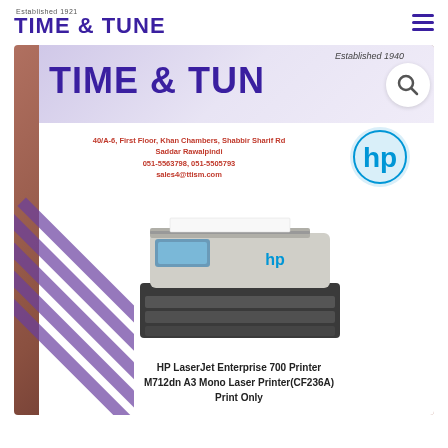TIME & TUNE — Established 1921 (logo) with hamburger menu
[Figure (screenshot): Time & Tune store webpage screenshot showing a promotional product listing for HP LaserJet Enterprise 700 Printer M712dn A3 Mono Laser Printer (CF236A) Print Only. The image shows the Time & Tune logo, store address at 40/A-6, First Floor, Khan Chambers, Shabbir Sharif Rd, Saddar Rawalpindi, phone 051-5563798, 051-5505793, email sales4@ttism.com, and an HP printer photo with HP logo. Background has a reddish-brown gradient with purple stripe decorations. A search icon circle overlaps top-right of the product card.]